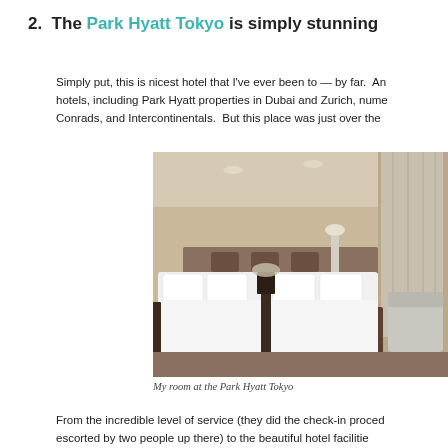2.  The Park Hyatt Tokyo is simply stunning
Simply put, this is nicest hotel that I've ever been to — by far.  An hotels, including Park Hyatt properties in Dubai and Zurich, numer Conrads, and Intercontinentals.  But this place was just over the
[Figure (photo): Hotel room at Park Hyatt Tokyo showing two neatly made beds with white linens, beige walls, recessed lighting, dark wood headboard, bedside tables, and a seating area with curtains at the right.]
My room at the Park Hyatt Tokyo
From the incredible level of service (they did the check-in proced escorted by two people up there) to the beautiful hotel facilities